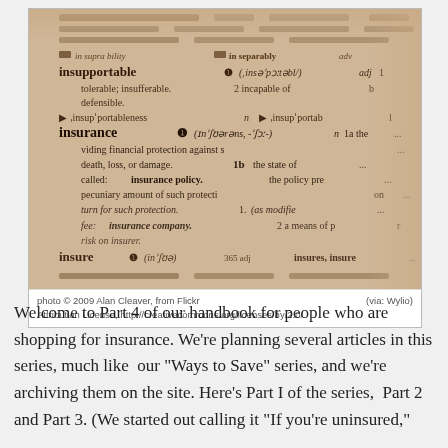[Figure (photo): Close-up photograph of a dictionary page showing the definition of 'insurance', with entries for 'insupportable', 'insupportableness', and 'insurance' visible in sepia/warm tones.]
photo © 2009 Alan Cleaver, from Flickr
Attribution License, http://creativecommons.org/licenses/by/2.0/
(via: Wylio)
Welcome to Part 4 of our handbook for people who are shopping for insurance. We're planning several articles in this series, much like  our "Ways to Save" series, and we're archiving them on the site. Here's Part I of the series,  Part 2 and Part 3. (We started out calling it "If you're uninsured"